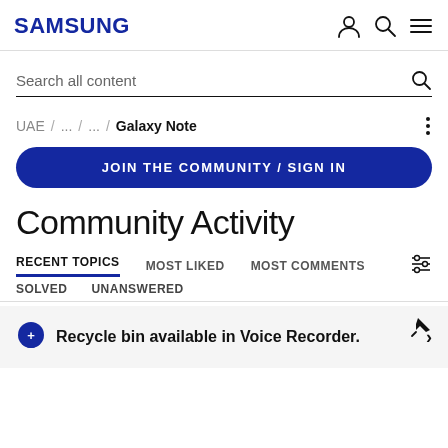SAMSUNG
Search all content
UAE / ... / ... / Galaxy Note
JOIN THE COMMUNITY / SIGN IN
Community Activity
RECENT TOPICS  MOST LIKED  MOST COMMENTS
SOLVED  UNANSWERED
Recycle bin available in Voice Recorder.